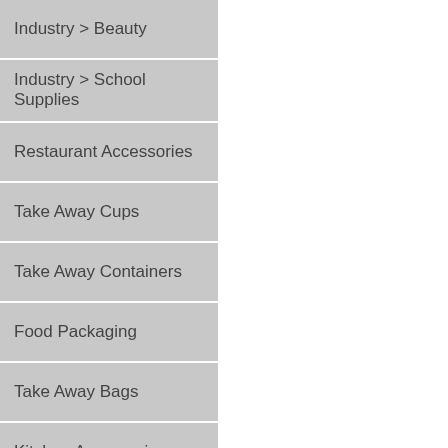Industry > Beauty
Industry > School Supplies
Restaurant Accessories
Take Away Cups
Take Away Containers
Food Packaging
Take Away Bags
Kitchen Accessories
Home Organisation
Mediflex
Healthcare
Protective Wear
Medical Supplies
Hi-Visability WorkWear
Singlets
T-Shirt Polos
Long Sleeve Shirts